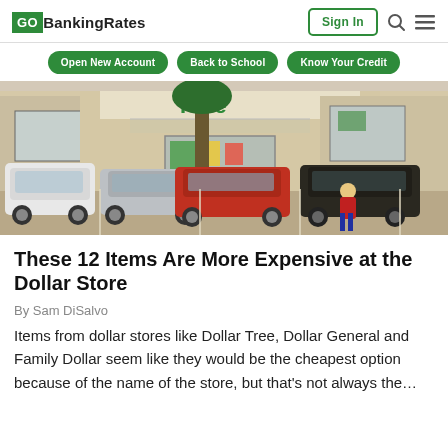GOBankingRates | Sign In | Search | Menu
Open New Account
Back to School
Know Your Credit
[Figure (photo): Exterior photo of a Dollar Tree store parking lot with several cars parked and a person walking]
These 12 Items Are More Expensive at the Dollar Store
By Sam DiSalvo
Items from dollar stores like Dollar Tree, Dollar General and Family Dollar seem like they would be the cheapest option because of the name of the store, but that's not always the…